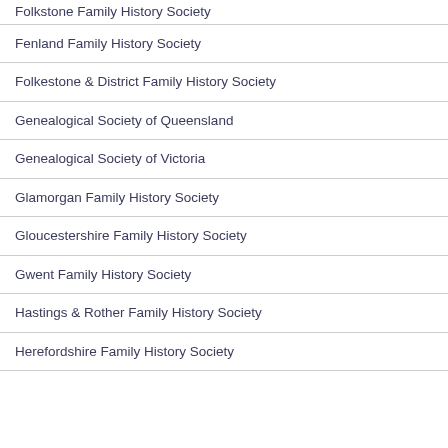Folkstone Family History Society
Fenland Family History Society
Folkestone & District Family History Society
Genealogical Society of Queensland
Genealogical Society of Victoria
Glamorgan Family History Society
Gloucestershire Family History Society
Gwent Family History Society
Hastings & Rother Family History Society
Herefordshire Family History Society